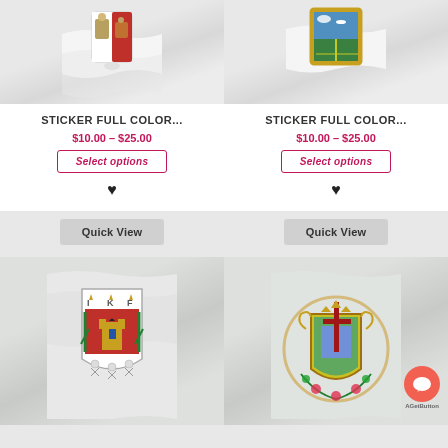[Figure (illustration): Product card top-left: coat of arms sticker on white wavy flag background - red and white shield with figures]
[Figure (illustration): Product card top-right: coat of arms sticker on white wavy flag background - green and gold border with landscape]
STICKER FULL COLOR...
$10.00 – $25.00
Select options
STICKER FULL COLOR...
$10.00 – $25.00
Select options
Quick View
Quick View
[Figure (illustration): Bottom-left: coat of arms on flag - white shield with red background, castle, crowns, IKF letters]
[Figure (illustration): Bottom-right: coat of arms on flag - ornate gold green shield with red cross, floral wreath]